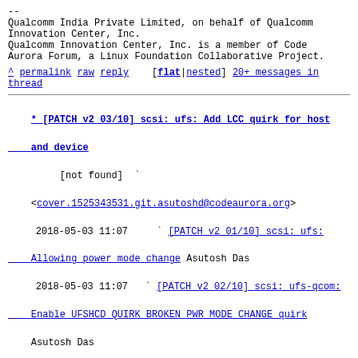--
Qualcomm India Private Limited, on behalf of Qualcomm Innovation Center, Inc.
Qualcomm Innovation Center, Inc. is a member of Code Aurora Forum, a Linux Foundation Collaborative Project.
^ permalink raw reply [flat|nested] 20+ messages in thread
* [PATCH v2 03/10] scsi: ufs: Add LCC quirk for host and device
        [not found]
<cover.1525343531.git.asutoshd@codeaurora.org>
   2018-05-03 11:07   ` [PATCH v2 01/10] scsi: ufs: Allowing power mode change Asutosh Das
   2018-05-03 11:07   ` [PATCH v2 02/10] scsi: ufs-qcom: Enable UFSHCD QUIRK BROKEN PWR MODE CHANGE quirk Asutosh Das
@ 2018-05-03 11:07   ` Asutosh Das
   2018-05-16 21:11     ` Subhash Jadavani
   2018-05-03 11:07   ` [PATCH v2 04/10] scsi: ufs: fix exception event handling Asutosh Das
                       ` (6 subsequent siblings)
  9 siblings, 1 reply; 20+ messages in thread
From: Asutosh Das @ 2018-05-03 11:07 UTC (permalink / raw)
  To: subhashj, cang, vivek.gautam, rnayak, vinholikatti, jejb,
        martin.petersen, asutoshd, linux-mmc